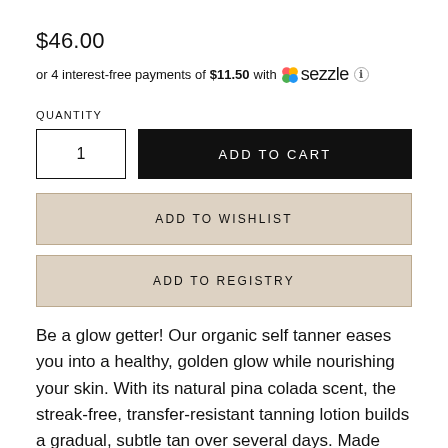$46.00
or 4 interest-free payments of $11.50 with sezzle ℹ
QUANTITY
1
ADD TO CART
ADD TO WISHLIST
ADD TO REGISTRY
Be a glow getter! Our organic self tanner eases you into a healthy, golden glow while nourishing your skin. With its natural pina colada scent, the streak-free, transfer-resistant tanning lotion builds a gradual, subtle tan over several days. Made with 99% natural